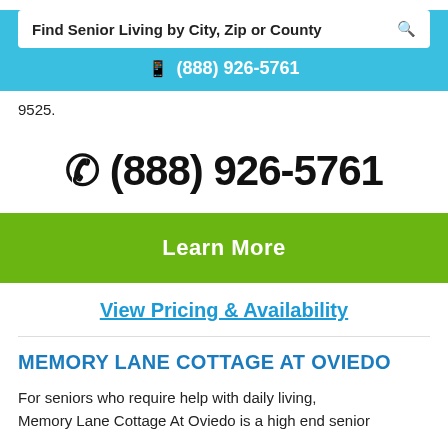Find Senior Living by City, Zip or County
(888) 926-5761
9525.
(888) 926-5761
Learn More
View Pricing & Availability
MEMORY LANE COTTAGE AT OVIEDO
For seniors who require help with daily living, Memory Lane Cottage At Oviedo is a high end senior